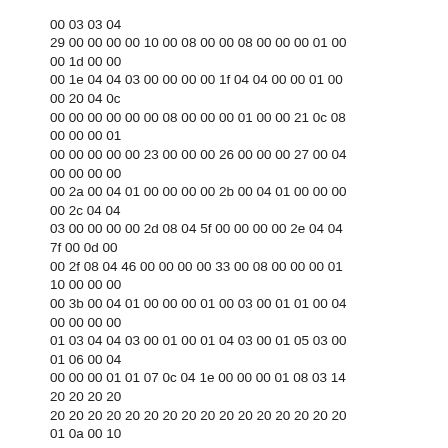00 03 03 04
29 00 00 00 00 10 00 08 00 00 08 00 00 00 01 00
00 1d 00 00
00 1e 04 04 03 00 00 00 00 1f 04 04 00 00 01 00
00 20 04 0c
00 00 00 00 00 00 08 00 00 00 01 00 00 21 0c 08
00 00 00 01
00 00 00 00 00 23 00 00 00 26 00 00 00 27 00 04
00 00 00 00
00 2a 00 04 01 00 00 00 00 2b 00 04 01 00 00 00
00 2c 04 04
03 00 00 00 00 2d 08 04 5f 00 00 00 00 2e 04 04
7f 00 0d 00
00 2f 08 04 46 00 00 00 00 33 00 08 00 00 00 01
10 00 00 00
00 3b 00 04 01 00 00 00 01 00 03 00 01 01 00 04
00 00 00 00
01 03 04 04 03 00 01 00 01 04 03 00 01 05 03 00
01 06 00 04
00 00 00 01 01 07 0c 04 1e 00 00 00 01 08 03 14
20 20 20 20
20 20 20 20 20 20 20 20 20 20 20 20 20 20 20 20
01 0a 00 10
46 44 43 00 53 44 43 00 54 4f 43 00 57 44 43 00
01 0b 00 04